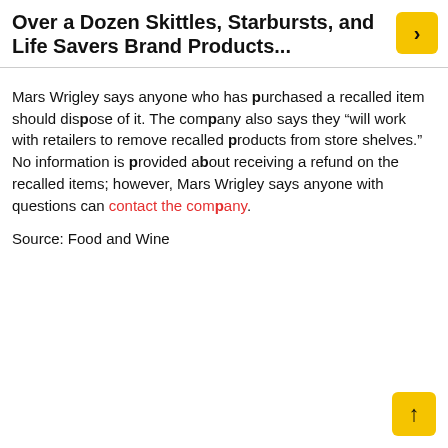Over a Dozen Skittles, Starbursts, and Life Savers Brand Products...
Mars Wrigley says anyone who has purchased a recalled item should dispose of it. The company also says they “will work with retailers to remove recalled products from store shelves.” No information is provided about receiving a refund on the recalled items; however, Mars Wrigley says anyone with questions can contact the company.
Source: Food and Wine